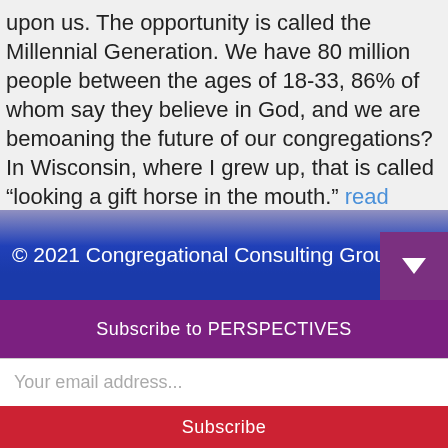upon us. The opportunity is called the Millennial Generation. We have 80 million people between the ages of 18-33, 86% of whom say they believe in God, and we are bemoaning the future of our congregations? In Wisconsin, where I grew up, that is called “looking a gift horse in the mouth.” read more…
← Previous   1   …   7   8
© 2021 Congregational Consulting Group
Subscribe to PERSPECTIVES
Your email address...
Subscribe